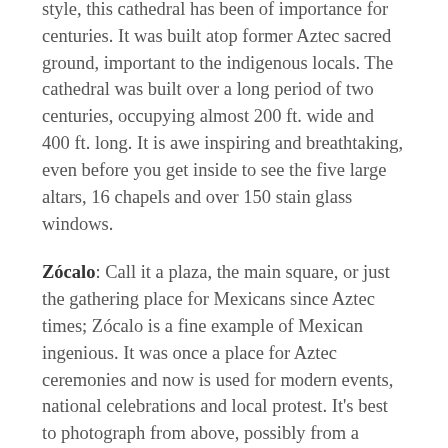style, this cathedral has been of importance for centuries. It was built atop former Aztec sacred ground, important to the indigenous locals. The cathedral was built over a long period of two centuries, occupying almost 200 ft. wide and 400 ft. long. It is awe inspiring and breathtaking, even before you get inside to see the five large altars, 16 chapels and over 150 stain glass windows.
Zócalo: Call it a plaza, the main square, or just the gathering place for Mexicans since Aztec times; Zócalo is a fine example of Mexican ingenious. It was once a place for Aztec ceremonies and now is used for modern events, national celebrations and local protest. It's best to photograph from above, possibly from a rooftop restaurant. Make sure to capture a photograph of the Mexican flag, right in the middle of the large city square. Or, just enjoy people watching and get a photograph of locals going about their day in Mexico City.
The Angel of Independence: When visiting...